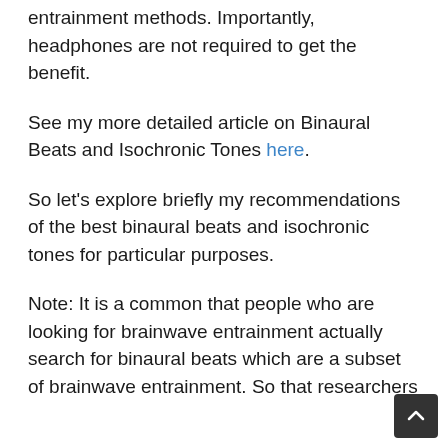entrainment methods. Importantly, headphones are not required to get the benefit.
See my more detailed article on Binaural Beats and Isochronic Tones here.
So let’s explore briefly my recommendations of the best binaural beats and isochronic tones for particular purposes.
Note: It is a common that people who are looking for brainwave entrainment actually search for binaural beats which are a subset of brainwave entrainment. So that researchers